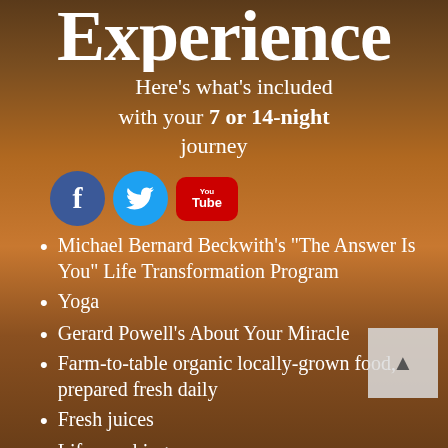Experience
Here's what's included with your 7 or 14-night journey
[Figure (infographic): Three social media icons: Facebook (blue circle with 'f'), Twitter (light blue circle with bird), YouTube (red rounded rectangle with 'You Tube' text)]
Michael Bernard Beckwith's "The Answer Is You" Life Transformation Program
Yoga
Gerard Powell's About Your Miracle
Farm-to-table organic locally-grown food, prepared fresh daily
Fresh juices
Life coaching
Licensed psychological counselors